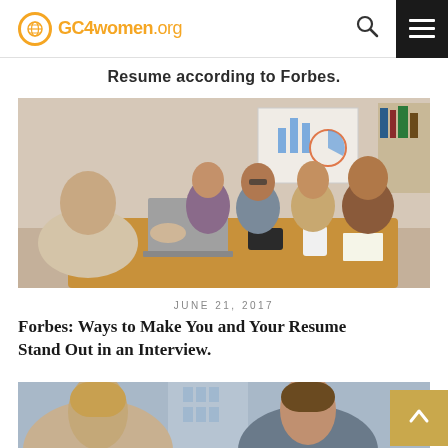GC4women.org
Resume according to Forbes.
[Figure (photo): Group of young professionals sitting around a conference table in a meeting room, with a laptop, phones, and papers on the table. A whiteboard with charts is visible in the background.]
JUNE 21, 2017
Forbes: Ways to Make You and Your Resume Stand Out in an Interview.
[Figure (photo): Two women seen from behind and front, appears to be an interview or meeting setting with a city building visible in the background.]